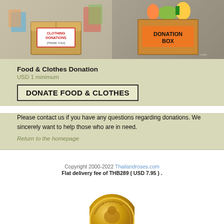[Figure (photo): Two photos side by side: left shows a cardboard box with 'Clothing Donations [Thank You!]' sign and clothes; right shows a cardboard box labeled 'Donation Box' with food items inside.]
Food & Clothes Donation
USD 1 minimum
DONATE FOOD & CLOTHES
Please contact us if you have any questions regarding donations. We sincerely want to help those who are in need.
Return to the homepage
Copyright 2000-2022 Thailandroses.com
Flat delivery fee of THB289 ( USD 7.95 ) .
[Figure (logo): Circular gold logo/medallion at bottom center of page, partially visible.]